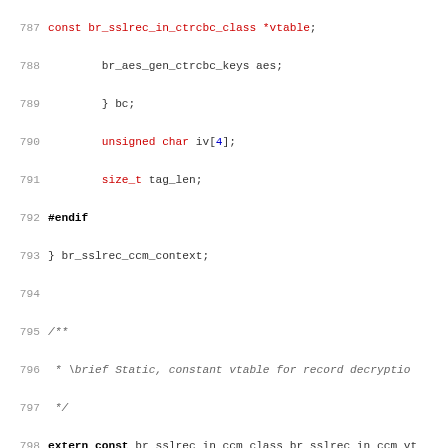[Figure (screenshot): Source code listing in C showing lines 787-819 of a header file with syntax highlighting. Contains struct definitions, extern declarations, typedefs, and doxygen comments related to SSL record CCM context and session parameters.]